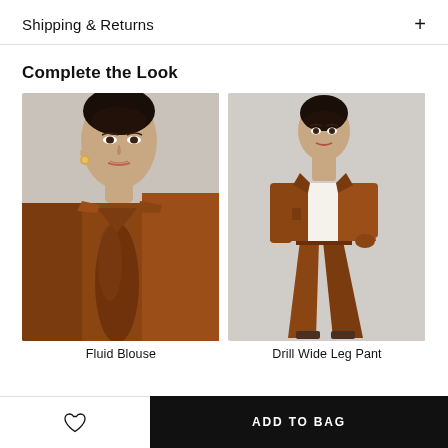Shipping & Returns
Complete the Look
[Figure (photo): Close-up of a model wearing a rust/cognac brown fluid blouse with a draped tie neckline]
[Figure (photo): Full-length photo of a model wearing a rust/cognac brown wide-leg drill pant with matching jacket and white top]
Fluid Blouse
Drill Wide Leg Pant
ADD TO BAG